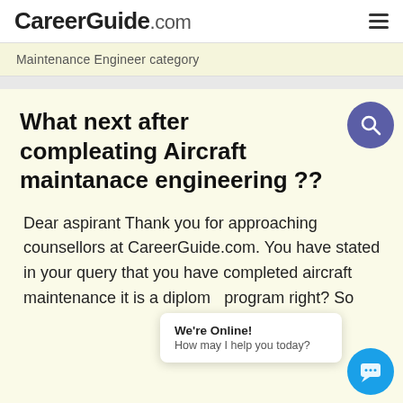CareerGuide.com
Maintenance Engineer category
What next after compleating Aircraft maintanace engineering ??
Dear aspirant Thank you for approaching counsellors at CareerGuide.com. You have stated in your query that you have completed aircraft maintenance it is a diploma program right? So
We're Online! How may I help you today?